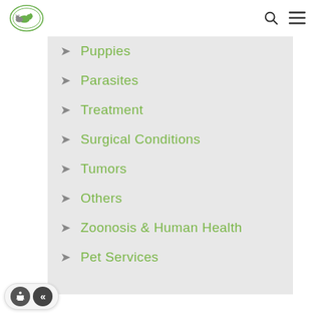[Figure (logo): Veterinary clinic logo with animal silhouettes and green circular design]
Puppies
Parasites
Treatment
Surgical Conditions
Tumors
Others
Zoonosis & Human Health
Pet Services